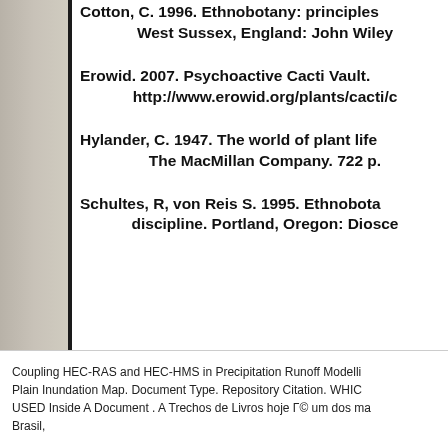Cotton, C. 1996. Ethnobotany: principles… West Sussex, England: John Wiley
Erowid. 2007. Psychoactive Cacti Vault. http://www.erowid.org/plants/cacti/c
Hylander, C. 1947. The world of plant life… The MacMillan Company. 722 p.
Schultes, R, von Reis S. 1995. Ethnobota… discipline. Portland, Oregon: Diosce
Coupling HEC-RAS and HEC-HMS in Precipitation Runoff Modelli… Plain Inundation Map. Document Type. Repository Citation. WHICH… USED Inside A Document . A Trechos de Livros hoje Γ© um dos ma… Brasil,